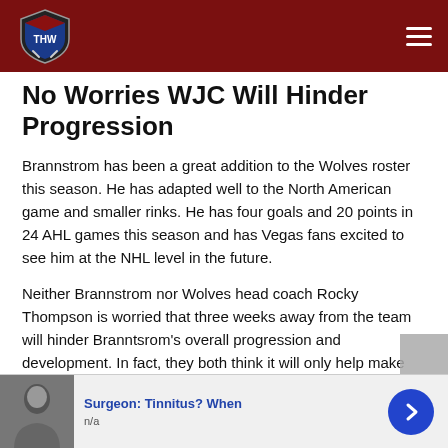[Figure (logo): THW hockey website logo shield with blue and white shield, 'THW' text, hockey sticks, on dark red header background]
No Worries WJC Will Hinder Progression
Brannstrom has been a great addition to the Wolves roster this season. He has adapted well to the North American game and smaller rinks. He has four goals and 20 points in 24 AHL games this season and has Vegas fans excited to see him at the NHL level in the future.
Neither Brannstrom nor Wolves head coach Rocky Thompson is worried that three weeks away from the team will hinder Branntsrom's overall progression and development. In fact, they both think it will only help make him a better player.
[Figure (other): Advertisement banner: thumbnail photo of man, text 'Surgeon: Tinnitus? When', subtext 'n/a', blue arrow button on right]